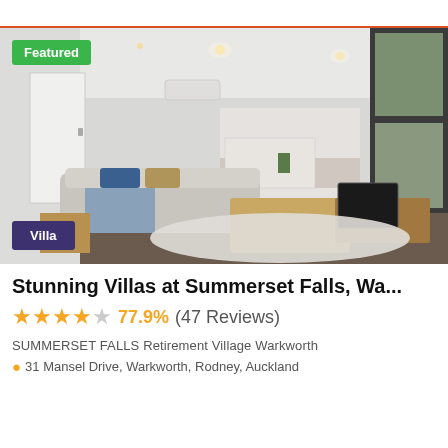[Figure (photo): Interior photo of a modern villa living room with open plan kitchen and dining. Features a grey sofa with blue and floral cushions, wooden coffee table, TV unit, and large windows. A 'Featured' green badge is in the top-left and a 'Villa' purple badge is in the bottom-left.]
Stunning Villas at Summerset Falls, Wa...
★★★★☆ 77.9%  (47 Reviews)
SUMMERSET FALLS Retirement Village Warkworth
31 Mansel Drive, Warkworth, Rodney, Auckland